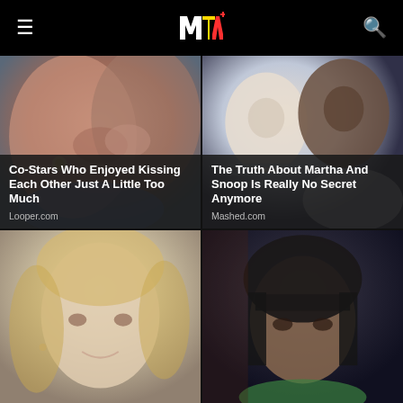MTV
[Figure (photo): Close-up of two people kissing, hands visible, blue scarf]
Co-Stars Who Enjoyed Kissing Each Other Just A Little Too Much
Looper.com
[Figure (photo): Martha Stewart and Snoop Dogg smiling together, Martha in striped shirt]
The Truth About Martha And Snoop Is Really No Secret Anymore
Mashed.com
[Figure (photo): Blonde woman smiling, close-up portrait]
[Figure (photo): Woman with short dark hair, close-up portrait]